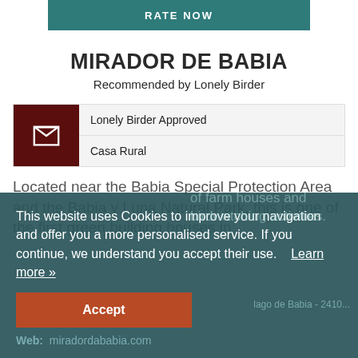RATE NOW
MIRADOR DE BABIA
Recommended by Lonely Birder
Lonely Birder Approved | Casa Rural
Located near the Babia Special Protection Area and the Babia y Luna Natural Park, this is one of the first green building houses in...
This website uses Cookies to improve your navigation and offer you a more personalised service. If you continue, we understand you accept their use.   Learn more »
Accept
Web:  miradordababia.com